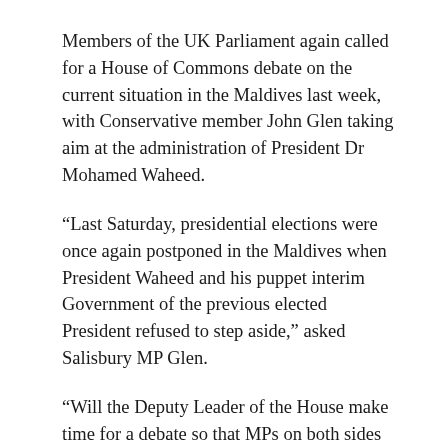Members of the UK Parliament again called for a House of Commons debate on the current situation in the Maldives last week, with Conservative member John Glen taking aim at the administration of President Dr Mohamed Waheed.
“Last Saturday, presidential elections were once again postponed in the Maldives when President Waheed and his puppet interim Government of the previous elected President refused to step aside,” asked Salisbury MP Glen.
“Will the Deputy Leader of the House make time for a debate so that MPs on both sides of the House can voice their support for free and fair elections in that country?”
Glen’s request for a full debate on the delayed